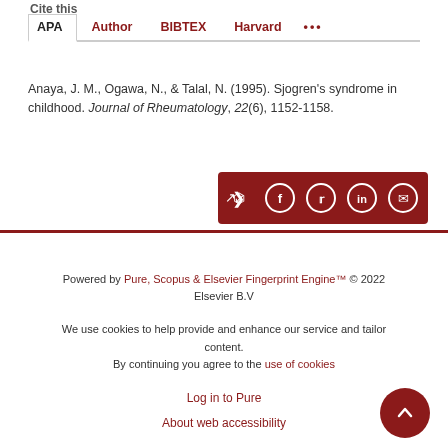Cite this
APA  Author  BIBTEX  Harvard  ...
Anaya, J. M., Ogawa, N., & Talal, N. (1995). Sjogren's syndrome in childhood. Journal of Rheumatology, 22(6), 1152-1158.
[Figure (infographic): Dark red share bar with share icon and social media buttons (Facebook, Twitter, LinkedIn, Email) as white circle icons on dark red background]
Powered by Pure, Scopus & Elsevier Fingerprint Engine™ © 2022 Elsevier B.V
We use cookies to help provide and enhance our service and tailor content. By continuing you agree to the use of cookies
Log in to Pure
About web accessibility